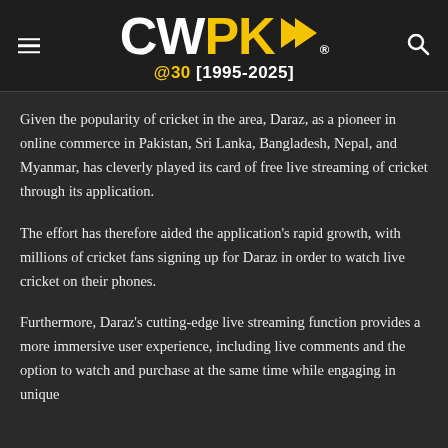CWPK @30 [1995-2025]
Given the popularity of cricket in the area, Daraz, as a pioneer in online commerce in Pakistan, Sri Lanka, Bangladesh, Nepal, and Myanmar, has cleverly played its card of free live streaming of cricket through its application.
The effort has therefore aided the application's rapid growth, with millions of cricket fans signing up for Daraz in order to watch live cricket on their phones.
Furthermore, Daraz's cutting-edge live streaming function provides a more immersive user experience, including live comments and the option to watch and purchase at the same time while engaging in unique